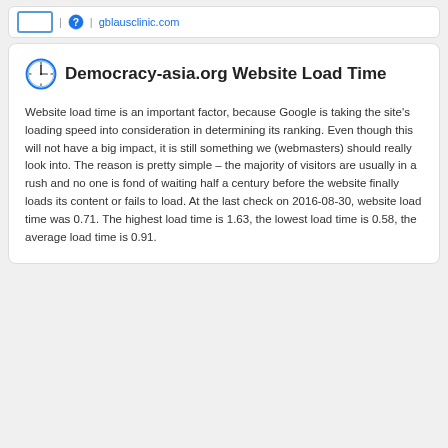| gblausclinic.com
Democracy-asia.org Website Load Time
Website load time is an important factor, because Google is taking the site's loading speed into consideration in determining its ranking. Even though this will not have a big impact, it is still something we (webmasters) should really look into. The reason is pretty simple – the majority of visitors are usually in a rush and no one is fond of waiting half a century before the website finally loads its content or fails to load. At the last check on 2016-08-30, website load time was 0.71. The highest load time is 1.63, the lowest load time is 0.58, the average load time is 0.91.